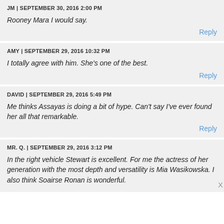JM | SEPTEMBER 30, 2016 2:00 PM
Rooney Mara I would say.
Reply
AMY | SEPTEMBER 29, 2016 10:32 PM
I totally agree with him. She's one of the best.
Reply
DAVID | SEPTEMBER 29, 2016 5:49 PM
Me thinks Assayas is doing a bit of hype. Can't say I've ever found her all that remarkable.
Reply
MR. Q. | SEPTEMBER 29, 2016 3:12 PM
In the right vehicle Stewart is excellent. For me the actress of her generation with the most depth and versatility is Mia Wasikowska. I also think Soairse Ronan is wonderful.